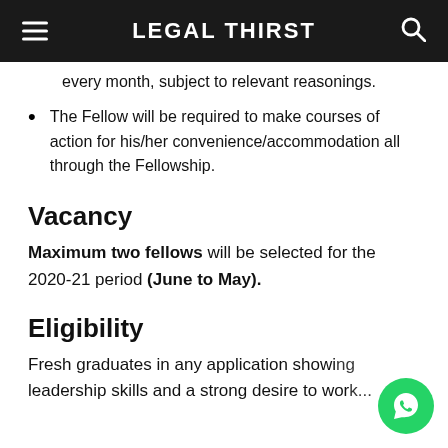LEGAL THIRST
every month, subject to relevant reasonings.
The Fellow will be required to make courses of action for his/her convenience/accommodation all through the Fellowship.
Vacancy
Maximum two fellows will be selected for the 2020-21 period (June to May).
Eligibility
Fresh graduates in any application showing leadership skills and a strong desire to work...